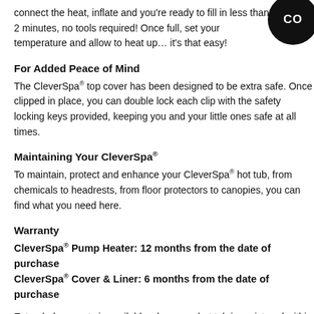connect the heat, inflate and you're ready to fill in less than 2 minutes, no tools required! Once full, set your temperature and allow to heat up… it's that easy!
For Added Peace of Mind
The CleverSpa® top cover has been designed to be extra safe. Once clipped in place, you can double lock each clip with the safety locking keys provided, keeping you and your little ones safe at all times.
Maintaining Your CleverSpa®
To maintain, protect and enhance your CleverSpa® hot tub, from chemicals to headrests, from floor protectors to canopies, you can find what you need here.
Warranty
CleverSpa® Pump Heater: 12 months from the date of purchase
CleverSpa® Cover & Liner: 6 months from the date of purchase
Extended warranty is available when your hot tub is registered within 28 days. For more information click here.